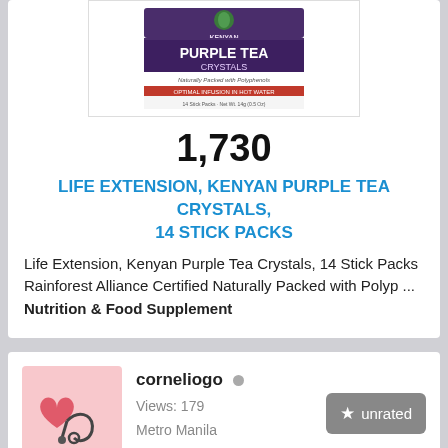[Figure (photo): Product image of Kenyan Purple Tea Crystals box]
1,730
LIFE EXTENSION, KENYAN PURPLE TEA CRYSTALS, 14 STICK PACKS
Life Extension, Kenyan Purple Tea Crystals, 14 Stick Packs Rainforest Alliance Certified Naturally Packed with Polyp ... Nutrition & Food Supplement
[Figure (photo): User avatar photo showing a heart and stethoscope on pink background]
corneliogo  Views: 179  Metro Manila  unrated